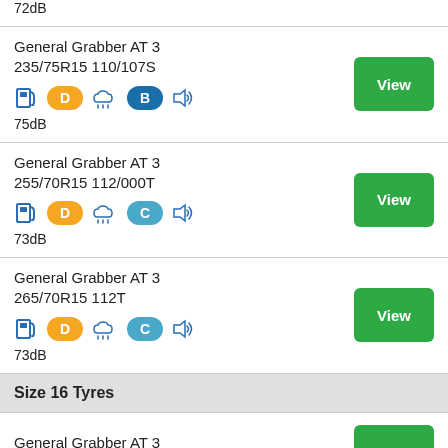72dB
General Grabber AT 3
235/75R15 110/107S
D B
75dB
General Grabber AT 3
255/70R15 112/000T
D C
73dB
General Grabber AT 3
265/70R15 112T
D C
73dB
Size 16 Tyres
General Grabber AT 3